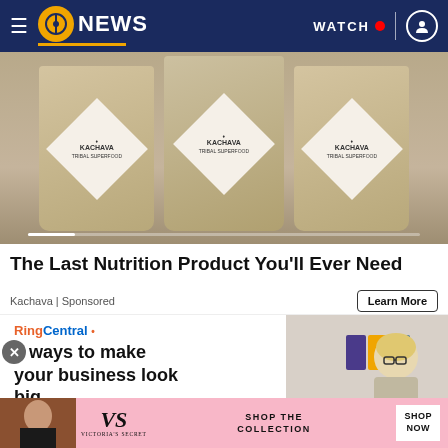11 NEWS — WATCH
[Figure (photo): Advertisement image showing two Kachava tribal superfood bags held up, with diamond-shaped logos on the packaging. Progress bar at bottom.]
The Last Nutrition Product You'll Ever Need
Kachava | Sponsored
Learn More
[Figure (photo): RingCentral advertisement showing logo and headline '7 ways to make your business look big' with a woman wearing glasses in the background.]
[Figure (photo): Victoria's Secret banner advertisement showing 'SHOP THE COLLECTION' with a SHOP NOW button.]